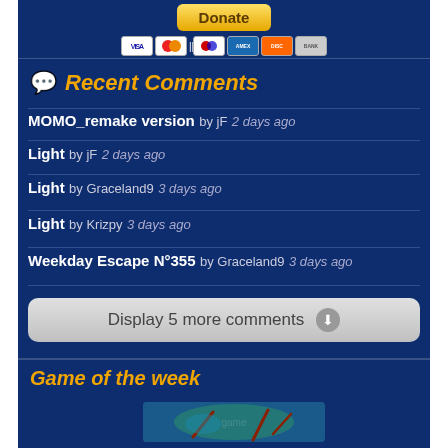[Figure (screenshot): Donate button with PayPal and payment icons (Visa, Mastercard, Amex, Discover)]
Recent Comments
MOMO_remake version  by jF  2 days ago
Light  by jF  2 days ago
Light  by Graceland9  3 days ago
Light  by Krizpy  3 days ago
Weekday Escape N°355  by Graceland9  3 days ago
Display 5 more comments
Game of the week
[Figure (screenshot): Game thumbnail image]